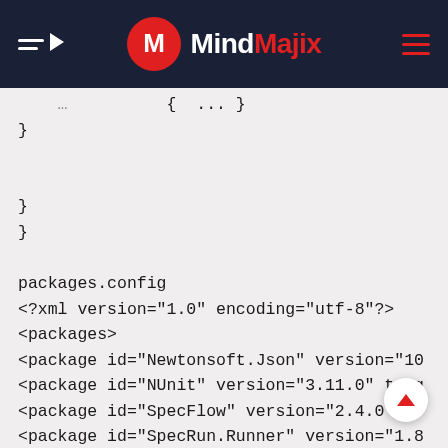MindMajix
}

}
}

packages.config
<?xml version="1.0" encoding="utf-8"?>
<packages>
<package id="Newtonsoft.Json" version="10
<package id="NUnit" version="3.11.0" targ
<package id="SpecFlow" version="2.4.0"
<package id="SpecRun.Runner" version="1.8
<package id="SpecRun.SpecFlow" version="1
<package id="SpecRun.SpecFlow.2-4-0" vers
<package id="System.ValueTuple" version=